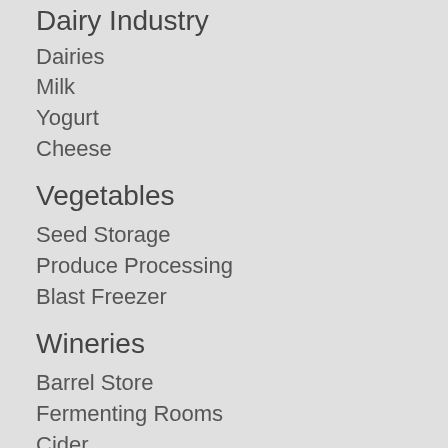Dairy Industry
Dairies
Milk
Yogurt
Cheese
Vegetables
Seed Storage
Produce Processing
Blast Freezer
Wineries
Barrel Store
Fermenting Rooms
Cider
Fruit
Controlled Atmosphere (CA) Stores
Berry Processing and Packaging